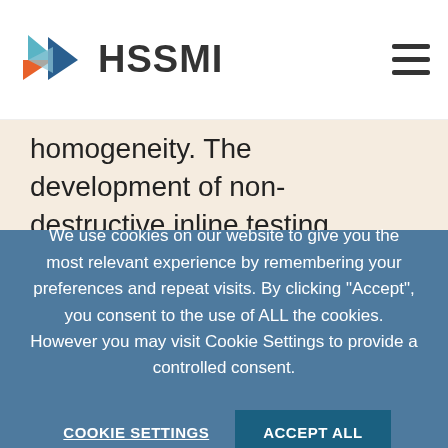[Figure (logo): HSSMI logo with colorful arrow/chevron shape and bold text HSSMI]
homogeneity. The development of non-destructive inline testing machines and procedures will enable manufacturers to employ a no-faults-forward principle, thereby
We use cookies on our website to give you the most relevant experience by remembering your preferences and repeat visits. By clicking "Accept", you consent to the use of ALL the cookies. However you may visit Cookie Settings to provide a controlled consent.
COOKIE SETTINGS   ACCEPT ALL